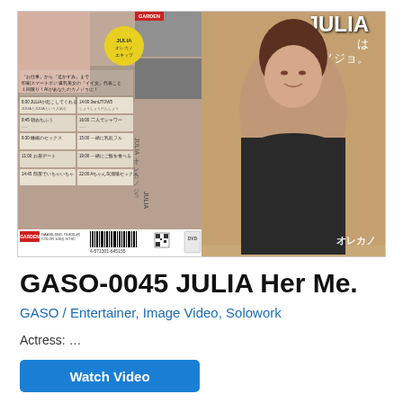[Figure (photo): DVD cover image for GASO-0045 featuring JULIA, with Japanese text, schedule grid, and barcode on the left side, and a portrait photo of the actress on the right side with Japanese title text overlay.]
GASO-0045 JULIA Her Me.
GASO / Entertainer, Image Video, Solowork
Actress: …
Watch Video